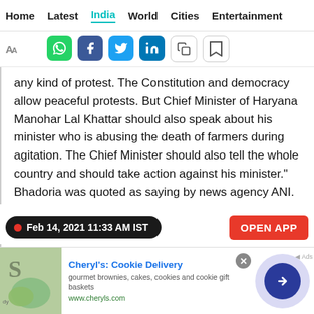Home   Latest   India   World   Cities   Entertainment
[Figure (screenshot): Social sharing toolbar with WhatsApp, Facebook, Twitter, LinkedIn, copy, and bookmark icons, plus text size controls (AA)]
any kind of protest. The Constitution and democracy allow peaceful protests. But Chief Minister of Haryana Manohar Lal Khattar should also speak about his minister who is abusing the death of farmers during agitation. The Chief Minister should also tell the whole country and should take action against his minister." Bhadoria was quoted as saying by news agency ANI.
Feb 14, 2021 11:33 AM IST
OPEN APP
Police annouce reward of ₹1 lakh for information on
[Figure (screenshot): Advertisement banner for Cheryl's Cookie Delivery: gourmet brownies, cakes, cookies and cookie gift baskets. www.cheryls.com]